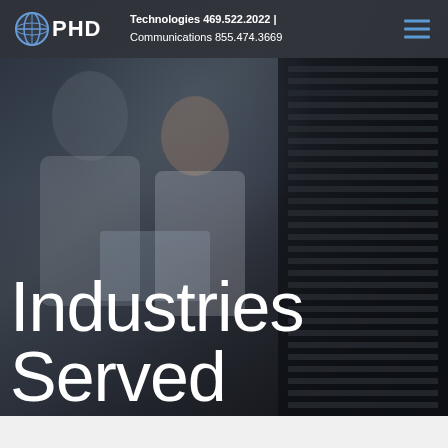PHD Technologies 469.522.2022 | Communications 855.474.3669
[Figure (photo): Two people (man and woman) looking at a laptop in a dark server room with server racks visible in the background]
Industries Served